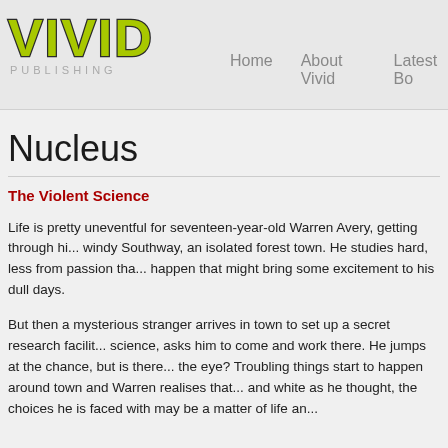[Figure (logo): Vivid Publishing logo — VIVID in large yellow-green bold text with dark stroke, PUBLISHING in small grey spaced letters below]
Home    About Vivid    Latest Bo
Nucleus
The Violent Science
Life is pretty uneventful for seventeen-year-old Warren Avery, getting through hi... windy Southway, an isolated forest town. He studies hard, less from passion tha... happen that might bring some excitement to his dull days.
But then a mysterious stranger arrives in town to set up a secret research facilit... science, asks him to come and work there. He jumps at the chance, but is there... the eye? Troubling things start to happen around town and Warren realises that... and white as he thought, the choices he is faced with may be a matter of life an...